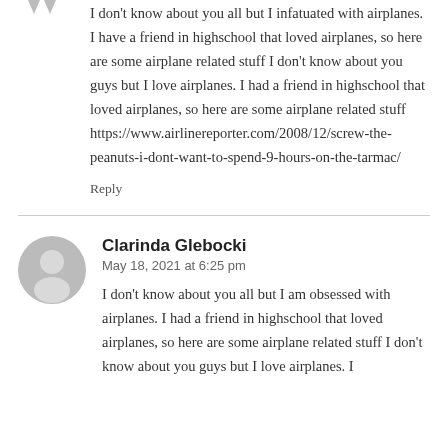I don't know about you all but I infatuated with airplanes. I have a friend in highschool that loved airplanes, so here are some airplane related stuff I don't know about you guys but I love airplanes. I had a friend in highschool that loved airplanes, so here are some airplane related stuff https://www.airlinereporter.com/2008/12/screw-the-peanuts-i-dont-want-to-spend-9-hours-on-the-tarmac/
Reply
[Figure (illustration): Gray avatar icon of a person (head and shoulders silhouette) in a circle]
Clarinda Glebocki
May 18, 2021 at 6:25 pm
I don't know about you all but I am obsessed with airplanes. I had a friend in highschool that loved airplanes, so here are some airplane related stuff I don't know about you guys but I love airplanes. I